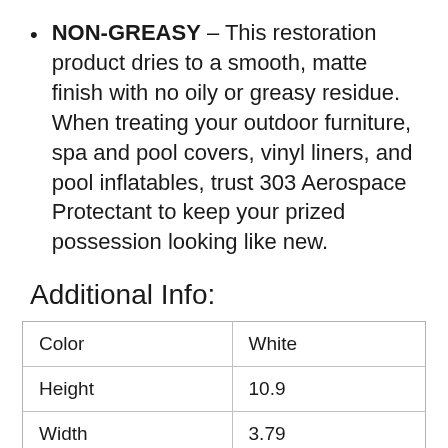NON-GREASY – This restoration product dries to a smooth, matte finish with no oily or greasy residue. When treating your outdoor furniture, spa and pool covers, vinyl liners, and pool inflatables, trust 303 Aerospace Protectant to keep your prized possession looking like new.
Additional Info:
| Color | White |
| Height | 10.9 |
| Width | 3.79 |
| Length | 1.86 |